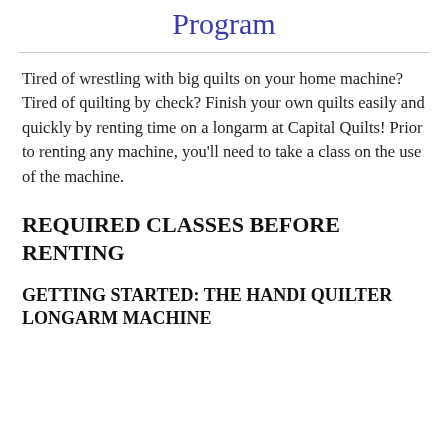Program
Tired of wrestling with big quilts on your home machine? Tired of quilting by check? Finish your own quilts easily and quickly by renting time on a longarm at Capital Quilts! Prior to renting any machine, you'll need to take a class on the use of the machine.
REQUIRED CLASSES BEFORE RENTING
GETTING STARTED: THE HANDI QUILTER LONGARM MACHINE